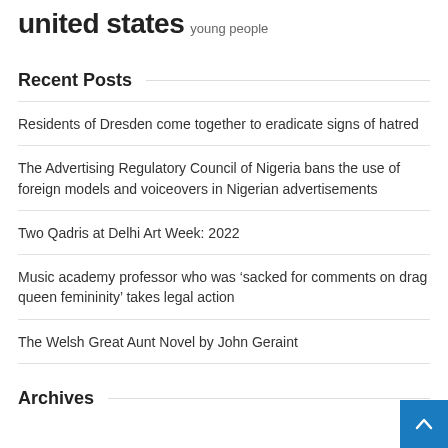united states   young people
Recent Posts
Residents of Dresden come together to eradicate signs of hatred
The Advertising Regulatory Council of Nigeria bans the use of foreign models and voiceovers in Nigerian advertisements
Two Qadris at Delhi Art Week: 2022
Music academy professor who was 'sacked for comments on drag queen femininity' takes legal action
The Welsh Great Aunt Novel by John Geraint
Archives